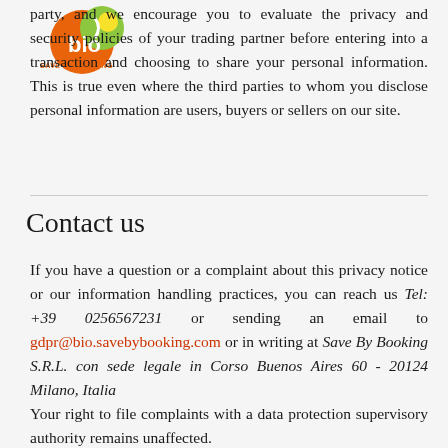[Figure (logo): Bio Save By Booking logo with orange and green circular icon]
party, and we encourage you to evaluate the privacy and security policies of your trading partner before entering into a transaction and choosing to share your personal information. This is true even where the third parties to whom you disclose personal information are users, buyers or sellers on our site.
Contact us
If you have a question or a complaint about this privacy notice or our information handling practices, you can reach us Tel: +39 0256567231 or sending an email to gdpr@bio.savebybooking.com or in writing at Save By Booking S.R.L. con sede legale in Corso Buenos Aires 60 - 20124 Milano, Italia
Your right to file complaints with a data protection supervisory authority remains unaffected.